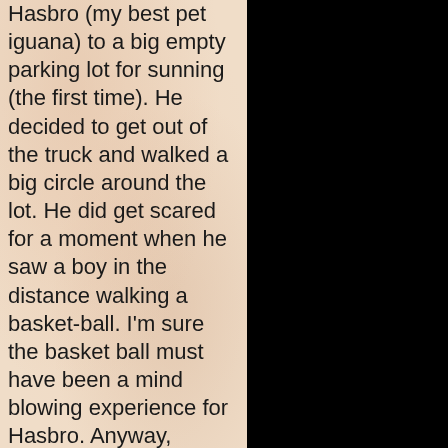Hasbro (my best pet iguana) to a big empty parking lot for sunning (the first time). He decided to get out of the truck and walked a big circle around the lot. He did get scared for a moment when he saw a boy in the distance walking a basket-ball. I'm sure the basket ball must have been a mind blowing experience for Hasbro. Anyway, Hasbro found his cool and finished the walk across the cement parking lot. He goes